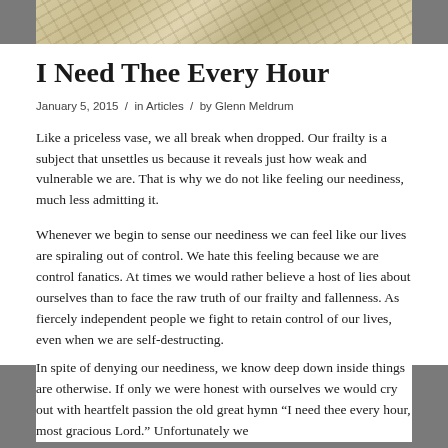[Figure (photo): Partial view of sheet music or aged parchment with handwritten musical notation]
I Need Thee Every Hour
January 5, 2015  /  in Articles  /  by Glenn Meldrum
Like a priceless vase, we all break when dropped. Our frailty is a subject that unsettles us because it reveals just how weak and vulnerable we are. That is why we do not like feeling our neediness, much less admitting it.
Whenever we begin to sense our neediness we can feel like our lives are spiraling out of control. We hate this feeling because we are control fanatics. At times we would rather believe a host of lies about ourselves than to face the raw truth of our frailty and fallenness. As fiercely independent people we fight to retain control of our lives, even when we are self-destructing.
In spite of denying our neediness, we know deep down inside things are otherwise. If only we were honest with ourselves we would cry out with heartfelt passion the old great hymn “I need thee every hour, most gracious Lord.” Unfortunately we